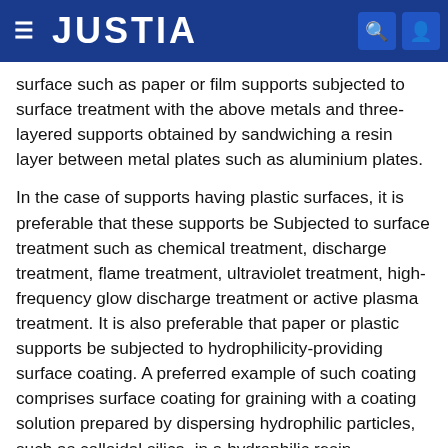JUSTIA
surface such as paper or film supports subjected to surface treatment with the above metals and three-layered supports obtained by sandwiching a resin layer between metal plates such as aluminium plates.
In the case of supports having plastic surfaces, it is preferable that these supports be Subjected to surface treatment such as chemical treatment, discharge treatment, flame treatment, ultraviolet treatment, high-frequency glow discharge treatment or active plasma treatment. It is also preferable that paper or plastic supports be subjected to hydrophilicity-providing surface coating. A preferred example of such coating comprises surface coating for graining with a coating solution prepared by dispersing hydrophilic particles, such as colloidal silica, in a hydrophilic resin.
For supports having an aluminium surface, it is